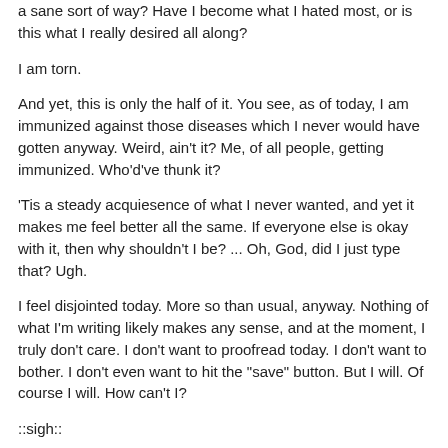a sane sort of way? Have I become what I hated most, or is this what I really desired all along?
I am torn.
And yet, this is only the half of it. You see, as of today, I am immunized against those diseases which I never would have gotten anyway. Weird, ain't it? Me, of all people, getting immunized. Who'd've thunk it?
'Tis a steady acquiesence of what I never wanted, and yet it makes me feel better all the same. If everyone else is okay with it, then why shouldn't I be? ... Oh, God, did I just type that? Ugh.
I feel disjointed today. More so than usual, anyway. Nothing of what I'm writing likely makes any sense, and at the moment, I truly don't care. I don't want to proofread today. I don't want to bother. I don't even want to hit the "save" button. But I will. Of course I will. How can't I?
::sigh::